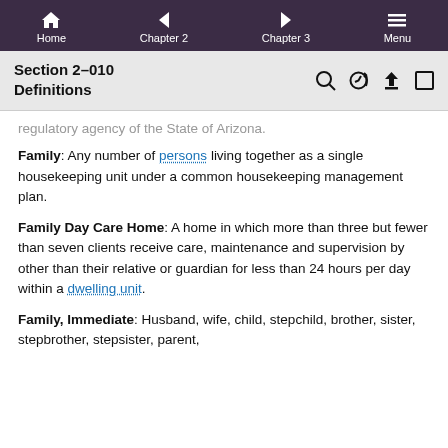Home | Chapter 2 | Chapter 3 | Menu
Section 2-010 Definitions
regulatory agency of the State of Arizona.
Family: Any number of persons living together as a single housekeeping unit under a common housekeeping management plan.
Family Day Care Home: A home in which more than three but fewer than seven clients receive care, maintenance and supervision by other than their relative or guardian for less than 24 hours per day within a dwelling unit.
Family, Immediate: Husband, wife, child, stepchild, brother, sister, stepbrother, stepsister, parent,